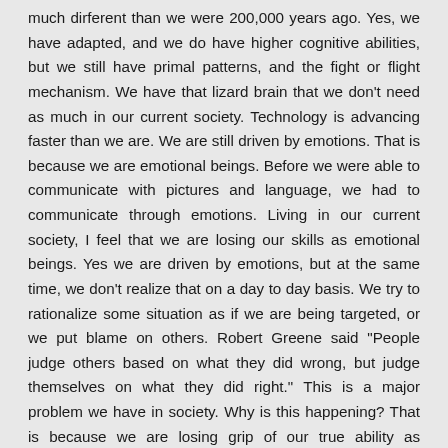much dirferent than we were 200,000 years ago. Yes, we have adapted, and we do have higher cognitive abilities, but we still have primal patterns, and the fight or flight mechanism. We have that lizard brain that we don't need as much in our current society. Technology is advancing faster than we are. We are still driven by emotions. That is because we are emotional beings. Before we were able to communicate with pictures and language, we had to communicate through emotions. Living in our current society, I feel that we are losing our skills as emotional beings. Yes we are driven by emotions, but at the same time, we don't realize that on a day to day basis. We try to rationalize some situation as if we are being targeted, or we put blame on others. Robert Greene said "People judge others based on what they did wrong, but judge themselves on what they did right." This is a major problem we have in society. Why is this happening? That is because we are losing grip of our true ability as humans. And that is understanding behaviors in other humans. It is how we survived all of this time. But instead of understanding, we are being consumed by emotions. They are